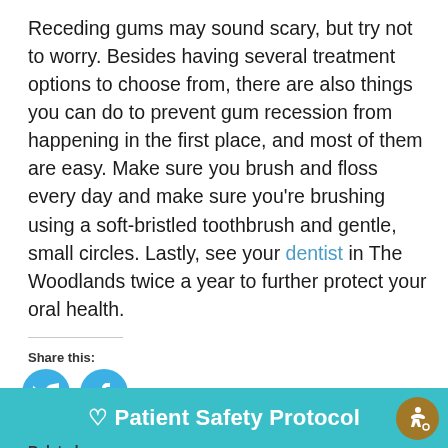Receding gums may sound scary, but try not to worry. Besides having several treatment options to choose from, there are also things you can do to prevent gum recession from happening in the first place, and most of them are easy. Make sure you brush and floss every day and make sure you're brushing using a soft-bristled toothbrush and gentle, small circles. Lastly, see your dentist in The Woodlands twice a year to further protect your oral health.
Share this:
[Figure (other): Twitter and Facebook social share icon buttons (blue circles with white icons)]
Related
What's An Impacted Tooth?
Why Does Food Always Get
In "General Dentistry"
♡ Patient Safety Protocol